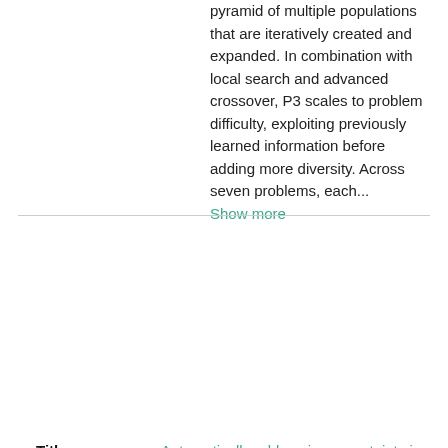pyramid of multiple populations that are iteratively created and expanded. In combination with local search and advanced crossover, P3 scales to problem difficulty, exploiting previously learned information before adding more diversity. Across seven problems, each... Show more
| Field | Value |
| --- | --- |
| Title | Automatically addressing uncertainty in autonomous robots with computational evolution |
| Creator | Clark, Anthony Joseph |
| Date | 2016 |
| Collection | Electronic Theses & Dissertations |
| Description | Autonomous robotic systems are becoming prevalent in our daily lives. Many robots are still restricted to manufacturing settings where precision |